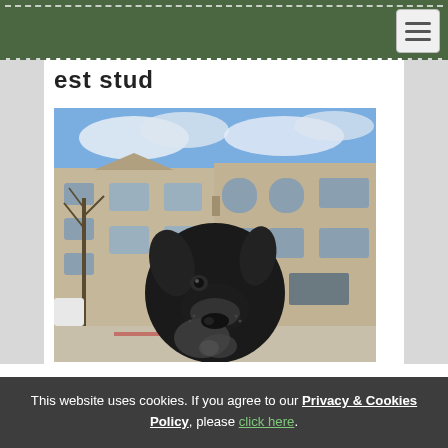est stud
[Figure (photo): A black Great Dane dog sitting outdoors in front of a multi-story apartment building complex, with bare winter trees visible in the background and blue sky with clouds above.]
This website uses cookies. If you agree to our Privacy & Cookies Policy, please click here.